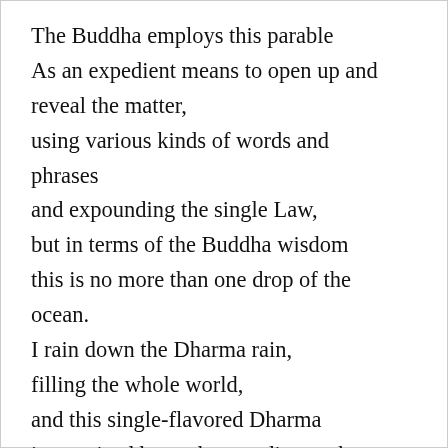The Buddha employs this parable
As an expedient means to open up and reveal the matter,
using various kinds of words and phrases
and expounding the single Law,
but in terms of the Buddha wisdom
this is no more than one drop of the ocean.
I rain down the Dharma rain,
filling the whole world,
and this single-flavored Dharma
is practiced by each according to the
individual's power.